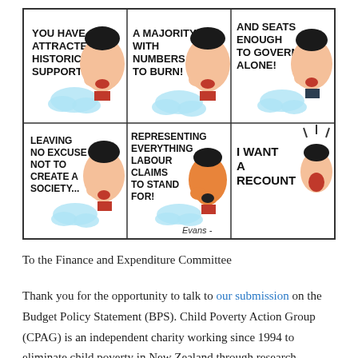[Figure (illustration): A six-panel political cartoon (signed 'Evans') showing a caricature of a politician being told good news in five panels: 'You have attracted historic support!', 'A majority with numbers to burn!', 'And seats enough to govern alone!', 'Leaving no excuse not to create a society...', 'Representing everything Labour claims to stand for!', and in the final panel a different figure reacts: 'I want a recount']
To the Finance and Expenditure Committee
Thank you for the opportunity to talk to our submission on the Budget Policy Statement (BPS). Child Poverty Action Group (CPAG) is an independent charity working since 1994 to eliminate child poverty in New Zealand through research,